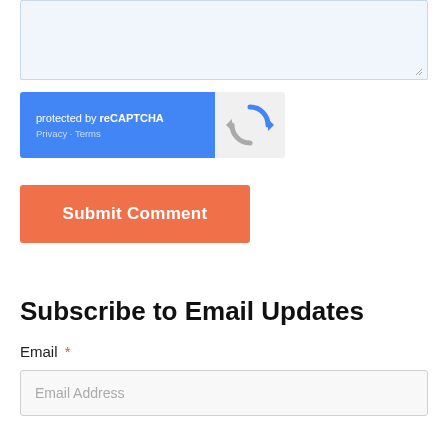[Figure (screenshot): Text area input box with light blue background and resize handle in the bottom-right corner]
[Figure (screenshot): reCAPTCHA widget: blue left side with 'protected by reCAPTCHA' text and 'Privacy - Terms' links, gray right side with reCAPTCHA logo]
Submit Comment
Subscribe to Email Updates
Email *
[Figure (screenshot): Email address input field with placeholder text 'Email Address']